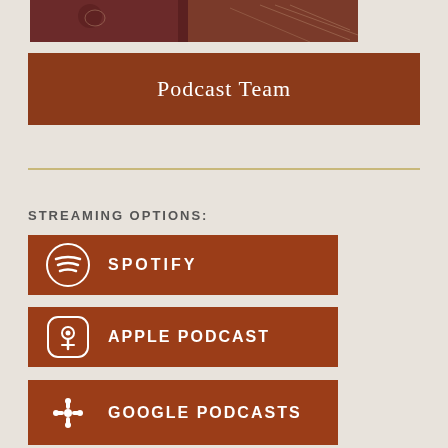[Figure (illustration): Podcast team decorative image with brown and dark purple geometric shapes and illustrated figures]
Podcast Team
STREAMING OPTIONS:
[Figure (logo): Spotify button with Spotify swirl icon and text SPOTIFY on brown background]
[Figure (logo): Apple Podcast button with podcast mic icon and text APPLE PODCAST on brown background]
[Figure (logo): Google Podcasts button with Google Podcasts icon and text GOOGLE PODCASTS on brown background (partially visible)]